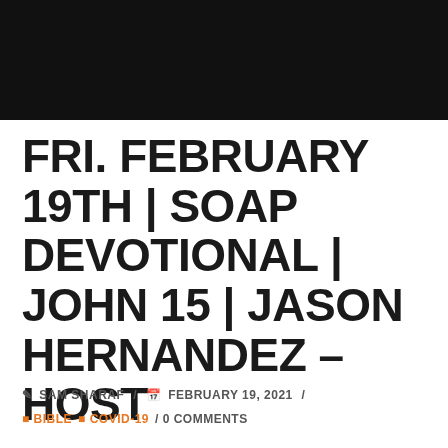[Figure (photo): Black header image/banner area at the top of the page]
FRI. FEBRUARY 19TH | SOAP DEVOTIONAL | JOHN 15 | JASON HERNANDEZ – HOST
SAM SHARAF / FEBRUARY 19, 2021 /
BIBLE / COVID-19 / 0 COMMENTS